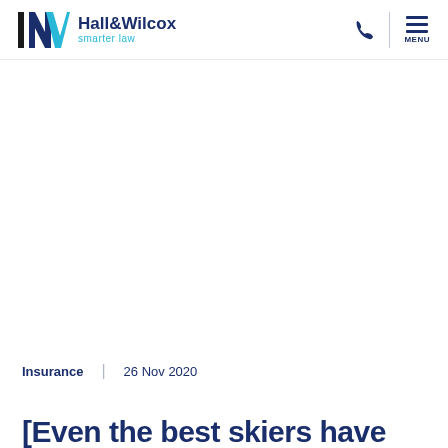Hall&Wilcox smarter law
Insurance | 26 Nov 2020
[Even the best skiers have